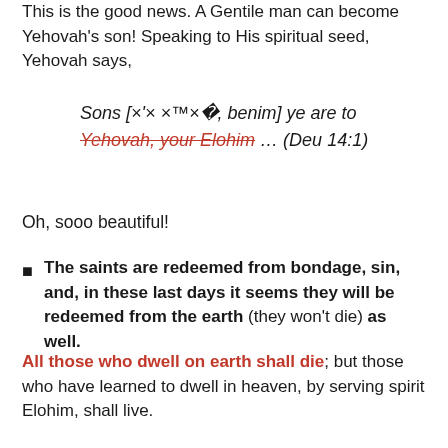This is the good news. A Gentile man can become Yehovah's son! Speaking to His spiritual seed, Yehovah says,
Sons [×'× ×™×�, benim] ye are to Yehovah, your Elohim … (Deu 14:1)
Oh, sooo beautiful!
The saints are redeemed from bondage, sin, and, in these last days it seems they will be redeemed from the earth (they won't die) as well.
All those who dwell on earth shall die; but those who have learned to dwell in heaven, by serving spirit Elohim, shall live.
Like Noah, who provided all the seed for the generations of flesh men that Israel now lives among. These saints (and those who are covered by them) will arrive in the millennial